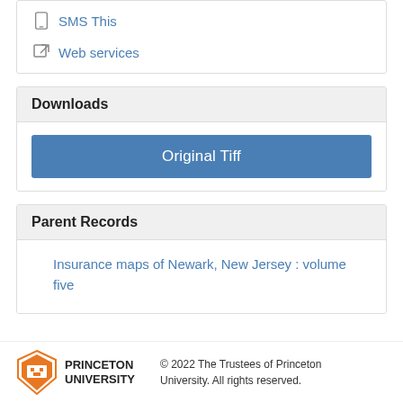SMS This
Web services
Downloads
Original Tiff
Parent Records
Insurance maps of Newark, New Jersey : volume five
© 2022 The Trustees of Princeton University. All rights reserved.